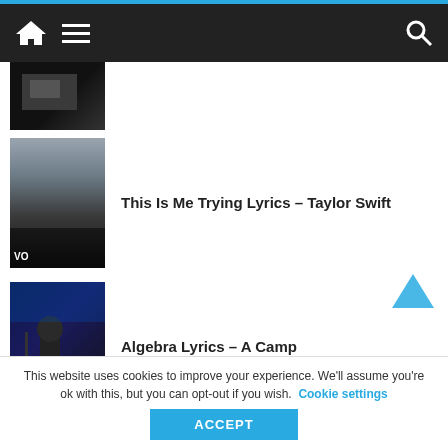Navigation bar with home, menu, and search icons
[Figure (screenshot): Partially visible thumbnail image (dark, cropped) for first list item]
This Is Me Trying Lyrics – Taylor Swift
[Figure (screenshot): Thumbnail: dark stage/screen image with 'VO' text at bottom left, for Taylor Swift entry]
Algebra Lyrics – A Camp
[Figure (screenshot): Thumbnail: performer on stage with blue lighting, for A Camp entry]
Lovin' U Lyrics – Alicia Keys
[Figure (screenshot): Thumbnail: person wearing green/teal hat, Alicia Keys entry, partially cut off]
This website uses cookies to improve your experience. We'll assume you're ok with this, but you can opt-out if you wish. Cookie settings
ACCEPT